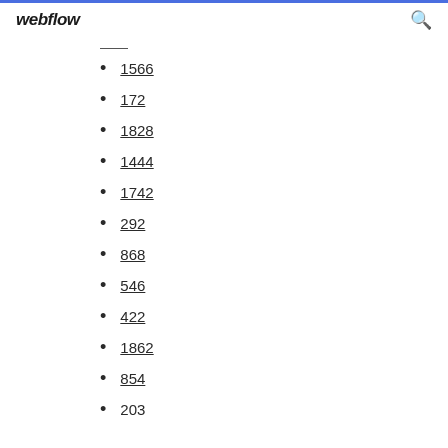webflow
1566
172
1828
1444
1742
292
868
546
422
1862
854
203